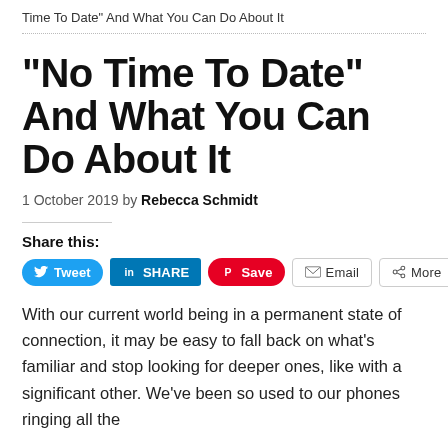Time To Date” And What You Can Do About It
“No Time To Date” And What You Can Do About It
1 October 2019 by Rebecca Schmidt
Share this:
[Figure (other): Social share buttons: Tweet, SHARE (LinkedIn), Save (Pinterest), Email, More]
With our current world being in a permanent state of connection, it may be easy to fall back on what’s familiar and stop looking for deeper ones, like with a significant other. We’ve been so used to our phones ringing all the